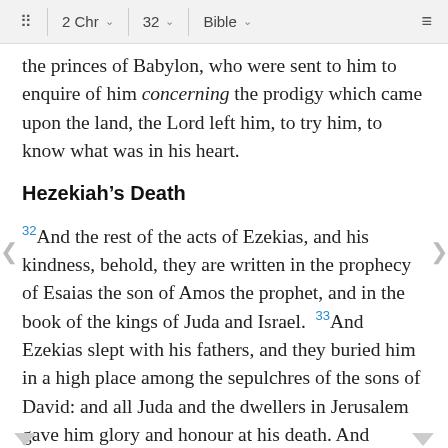2 Chr  32  Bible
the princes of Babylon, who were sent to him to enquire of him concerning the prodigy which came upon the land, the Lord left him, to try him, to know what was in his heart.
Hezekiah’s Death
32 And the rest of the acts of Ezekias, and his kindness, behold, they are written in the prophecy of Esaias the son of Amos the prophet, and in the book of the kings of Juda and Israel. 33 And Ezekias slept with his fathers, and they buried him in a high place among the sepulchres of the sons of David: and all Juda and the dwellers in Jerusalem gave him glory and honour at his death. And Manasses his son reigned in his stead.